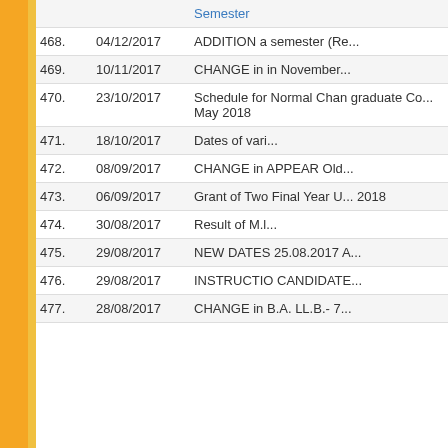| No. | Date | Title |
| --- | --- | --- |
| 468. | 04/12/2017 | ADDITION a semester (Re... |
| 469. | 10/11/2017 | CHANGE in in November... |
| 470. | 23/10/2017 | Schedule for Normal Chan graduate Co... May 2018 |
| 471. | 18/10/2017 | Dates of vari... |
| 472. | 08/09/2017 | CHANGE in APPEAR Old... |
| 473. | 06/09/2017 | Grant of Two Final Year U... 2018 |
| 474. | 30/08/2017 | Result of M.l... |
| 475. | 29/08/2017 | NEW DATES 25.08.2017 A... |
| 476. | 29/08/2017 | INSTRUCTIO CANDIDATE... |
| 477. | 28/08/2017 | CHANGE in B.A. LL.B.- 7... |